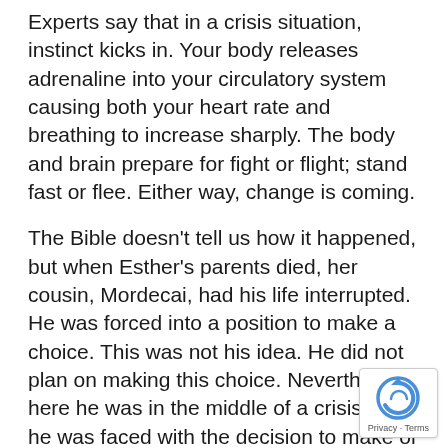Experts say that in a crisis situation, instinct kicks in. Your body releases adrenaline into your circulatory system causing both your heart rate and breathing to increase sharply. The body and brain prepare for fight or flight; stand fast or flee. Either way, change is coming.
The Bible doesn't tell us how it happened, but when Esther's parents died, her cousin, Mordecai, had his life interrupted. He was forced into a position to make a choice. This was not his idea. He did not plan on making this choice. Nevertheless, here he was in the middle of a crisis and he was faced with the decision to make or break young Esther's future.
Mordecai stood fast and stepped in to intervene into the life of newly orphaned Esther. He changed her destiny.
Stories about orphans always stir emotions. A story-